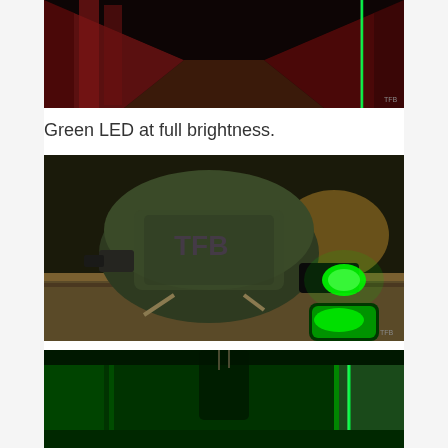[Figure (photo): Dark corridor illuminated by a vertical green laser/LED beam along the right wall, with red-tinted walls visible.]
Green LED at full brightness.
[Figure (photo): Tactical military helmet with camouflage pattern resting on a wooden surface, with a glowing green LED light attached and illuminating the scene.]
[Figure (photo): Dark corridor scene with green illumination from an LED/laser source, showing green-lit walls.]